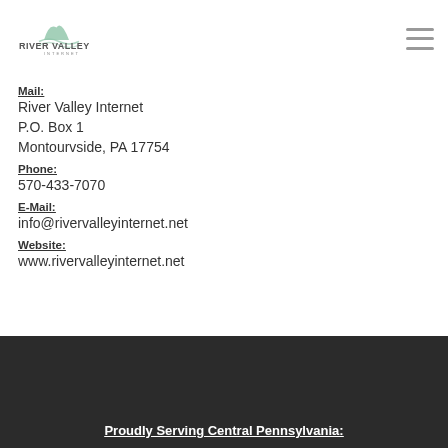[Figure (logo): River Valley Internet logo with mountain/water graphic and text]
Mail:
River Valley Internet
P.O. Box 1
Montourvside, PA 17754
Phone:
570-433-7070
E-Mail:
info@rivervalleyinternet.net
Website:
www.rivervalleyinternet.net
Proudly Serving Central Pennsylvania: